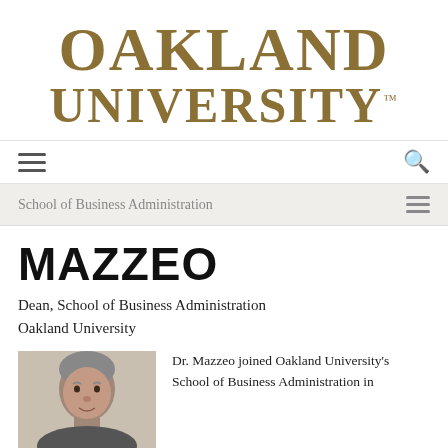[Figure (logo): Oakland University logo in gold serif font, two lines: OAKLAND and UNIVERSITY with TM mark]
School of Business Administration
MAZZEO
Dean, School of Business Administration
Oakland University
[Figure (photo): Headshot photo of Dr. Mazzeo, a man with gray hair]
Dr. Mazzeo joined Oakland University's School of Business Administration in